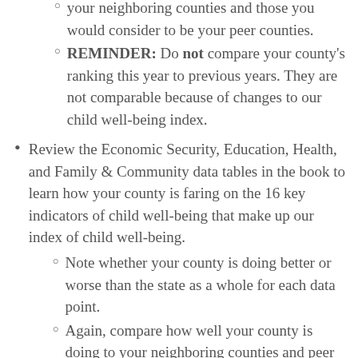REMINDER: Do not compare your county's ranking this year to previous years. They are not comparable because of changes to our child well-being index.
Review the Economic Security, Education, Health, and Family & Community data tables in the book to learn how your county is faring on the 16 key indicators of child well-being that make up our index of child well-being.
Note whether your county is doing better or worse than the state as a whole for each data point.
Again, compare how well your county is doing to your neighboring counties and peer counties. This can help you identify communities to reach out to for ideas on